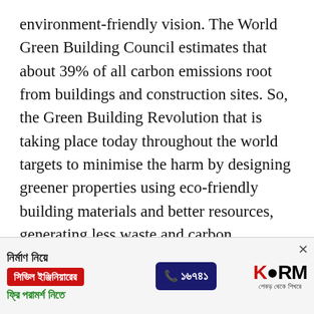environment-friendly vision. The World Green Building Council estimates that about 39% of all carbon emissions root from buildings and construction sites. So, the Green Building Revolution that is taking place today throughout the world targets to minimise the harm by designing greener properties using eco-friendly building materials and better resources, generating less waste and carbon emission. The program checks seven categories before passing an LEED certificate. Today, over 2.2 million square footage of real estate becomes LEED-certified every day and their website lists almost
[Figure (infographic): Advertisement banner for KSRM civil engineering consultation. Bengali text: 'নির্মাণ নিয়ে' (About Construction), 'সিভিল ইঞ্জিনিয়ারের' (Civil Engineer's) in red button, 'ফ্রি পরামর্শ নিতে' (Get Free Consultation) in green, phone number ১৬৭৪১ on dark blue background, KSRM logo on right.]